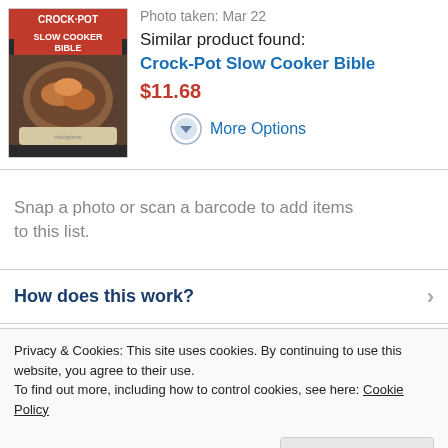[Figure (photo): Book cover of Crock-Pot Slow Cooker Bible with red text and food image]
Photo taken: Mar 22
Similar product found:
Crock-Pot Slow Cooker Bible
$11.68
More Options
Snap a photo or scan a barcode to add items to this list.
How does this work?
Privacy & Cookies: This site uses cookies. By continuing to use this website, you agree to their use.
To find out more, including how to control cookies, see here: Cookie Policy
Close and accept